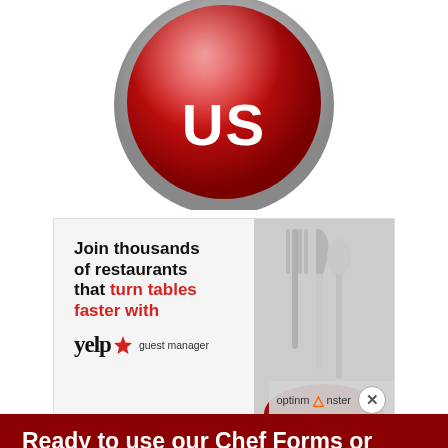[Figure (illustration): Red glossy circular button with white text reading 'JOIN US' (partially visible, top cropped), with a metallic silver rim.]
[Figure (illustration): Yelp guest manager advertisement banner showing text 'Join thousands of restaurants that turn tables faster with yelp* guest manager' alongside a photo of silverware (fork, knife) on a red background. OptinMonster badge with X close button overlaid at bottom right.]
Ready to use our Chef Forms or Video Tutorials?
Choose your Subscription level to access our exclusive content for Chefs.
YES, TELL ME MORE!